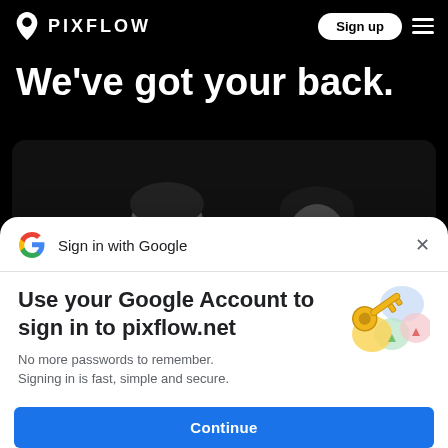PIXFLOW — Sign up
We've got your back.
[Figure (photo): Black and white photo of a man and woman against a dark background, their faces partially visible]
Sign in with Google
Use your Google Account to sign in to pixflow.net
No more passwords to remember. Signing in is fast, simple and secure.
Continue